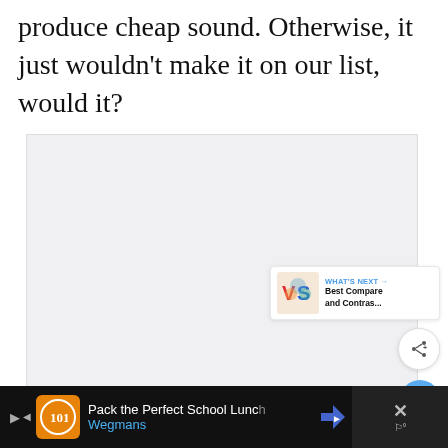produce cheap sound. Otherwise, it just wouldn't make it on our list, would it?
[Figure (other): Large light gray placeholder image area for embedded product content]
[Figure (screenshot): UI element: circular blue heart/favorite button]
[Figure (screenshot): UI element: circular white share button with share icon]
[Figure (screenshot): WHAT'S NEXT card with VS logo image and text 'Best Compare and Contras...']
[Figure (screenshot): Ad bar at bottom: Wegmans 'Pack the Perfect School Lunch' advertisement with orange logo, close button and weather widget on right]